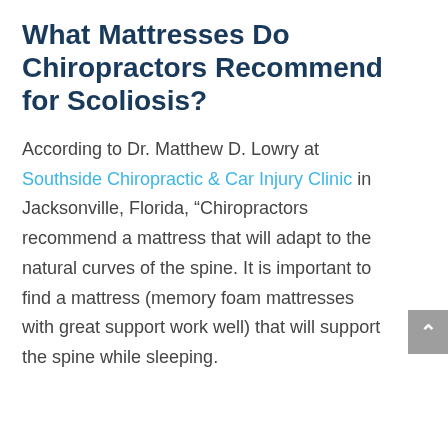What Mattresses Do Chiropractors Recommend for Scoliosis?
According to Dr. Matthew D. Lowry at Southside Chiropractic & Car Injury Clinic in Jacksonville, Florida, “Chiropractors recommend a mattress that will adapt to the natural curves of the spine. It is important to find a mattress (memory foam mattresses with great support work well) that will support the spine while sleeping.